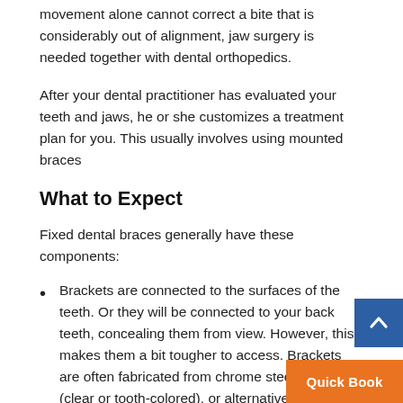movement alone cannot correct a bite that is considerably out of alignment, jaw surgery is needed together with dental orthopedics.
After your dental practitioner has evaluated your teeth and jaws, he or she customizes a treatment plan for you. This usually involves using mounted braces
What to Expect
Fixed dental braces generally have these components:
Brackets are connected to the surfaces of the teeth. Or they will be connected to your back teeth, concealing them from view. However, this makes them a bit tougher to access. Brackets are often fabricated from chrome steel, ceramic (clear or tooth-colored), or alternative materials. Modern metal brackets are smaller